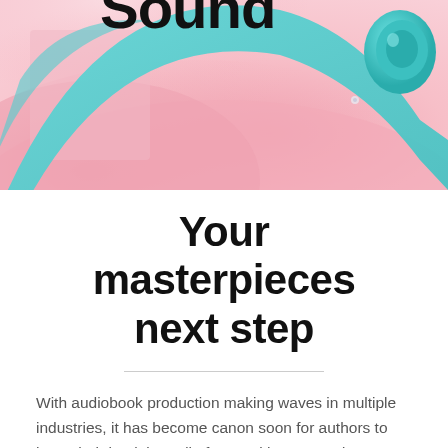[Figure (illustration): Close-up abstract 3D render of headphones with pink and teal/cyan colors. Soft pink surfaces with a teal band visible, and a small teal earcup detail in the upper right. Partial text 'Sound' visible at the top in bold black.]
Your masterpieces next step
With audiobook production making waves in multiple industries, it has become canon soon for authors to have their book in audio form. With more and more people forever on the move, audiobooks are the obvious choice for